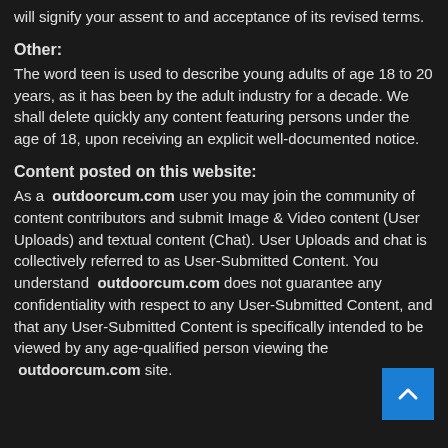will signify your assent to and acceptance of its revised terms.
Other:
The word teen is used to describe young adults of age 18 to 20 years, as it has been by the adult industry for a decade. We shall delete quickly any content featuring persons under the age of 18, upon receiving an explicit well-documented notice.
Content posted on this website:
As a  outdoorcum.com user you may join the community of content contributors and submit Image & Video content (User Uploads) and textual content (Chat). User Uploads and chat is collectively referred to as User-Submitted Content. You understand  outdoorcum.com does not guarantee any confidentiality with respect to any User-Submitted Content, and that any User-Submitted Content is specifically intended to be viewed by any age-qualified person viewing the  outdoorcum.com site.